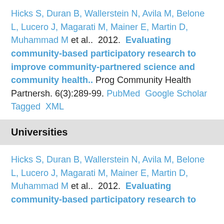Hicks S, Duran B, Wallerstein N, Avila M, Belone L, Lucero J, Magarati M, Mainer E, Martin D, Muhammad M et al..  2012.  Evaluating community-based participatory research to improve community-partnered science and community health..  Prog Community Health Partnersh. 6(3):289-99.  PubMed  Google Scholar  Tagged  XML
Universities
Hicks S, Duran B, Wallerstein N, Avila M, Belone L, Lucero J, Magarati M, Mainer E, Martin D, Muhammad M et al..  2012.  Evaluating community-based participatory research to